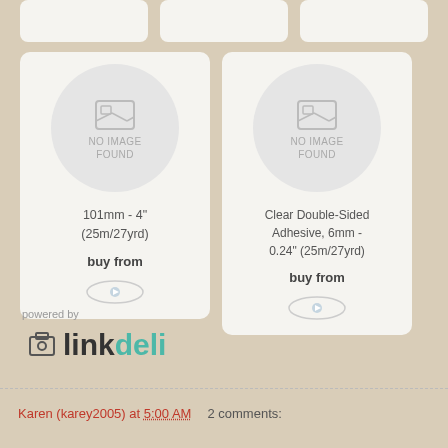[Figure (screenshot): Partial product cards at top of page (cropped)]
[Figure (screenshot): Product card: 101mm - 4" (25m/27yrd) with NO IMAGE FOUND placeholder and buy from button]
[Figure (screenshot): Product card: Clear Double-Sided Adhesive, 6mm - 0.24" (25m/27yrd) with NO IMAGE FOUND placeholder and buy from button]
[Figure (logo): Linkdeli logo with powered by text]
Karen (karey2005) at 5:00 AM    2 comments: